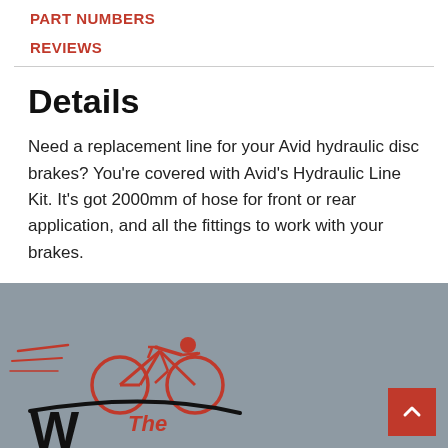PART NUMBERS
REVIEWS
Details
Need a replacement line for your Avid hydraulic disc brakes? You're covered with Avid's Hydraulic Line Kit. It's got 2000mm of hose for front or rear application, and all the fittings to work with your brakes.
[Figure (logo): Bicycle shop logo with cyclist silhouette in red and black text reading 'The Way' on gray background]